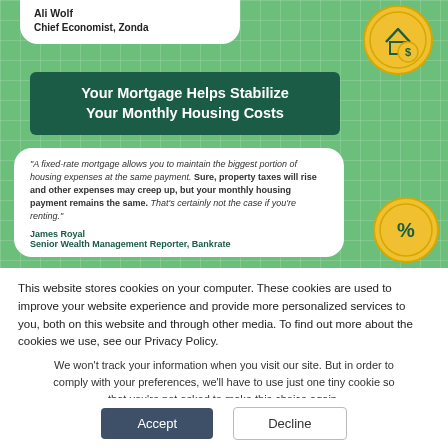[Figure (infographic): Green grid-pattern infographic with speech bubbles and coin icons. Top bubble shows Ali Wolf, Chief Economist, Zonda. Dark green box: 'Your Mortgage Helps Stabilize Your Monthly Housing Costs'. Lower white bubble contains a quote about fixed-rate mortgages attributed to James Royal, Senior Wealth Management Reporter, Bankrate.]
This website stores cookies on your computer. These cookies are used to improve your website experience and provide more personalized services to you, both on this website and through other media. To find out more about the cookies we use, see our Privacy Policy.
We won't track your information when you visit our site. But in order to comply with your preferences, we'll have to use just one tiny cookie so that you're not asked to make this choice again.
Accept
Decline